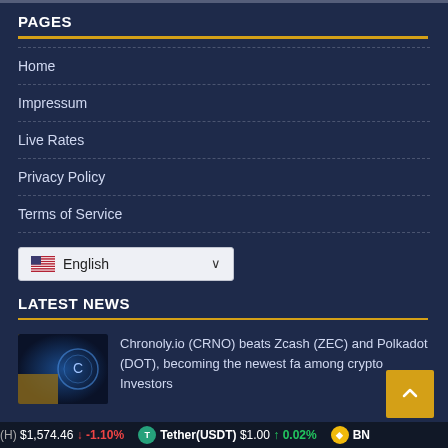PAGES
Home
Impressum
Live Rates
Privacy Policy
Terms of Service
LATEST NEWS
Chronoly.io (CRNO) beats Zcash (ZEC) and Polkadot (DOT), becoming the newest fa among crypto Investors
(H) $1,574.46 ↓ -1.10%   Tether(USDT) $1.00 ↑ 0.02%   BN